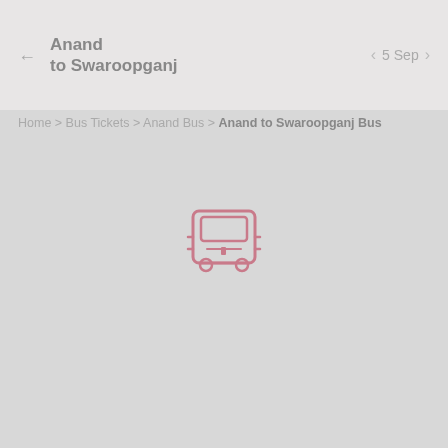Anand to Swaroopganj | 5 Sep
Home > Bus Tickets > Anand Bus > Anand to Swaroopganj Bus
[Figure (illustration): Bus icon in pink/rose outline style, front-facing view of a bus with windows, headlights, and wheels]